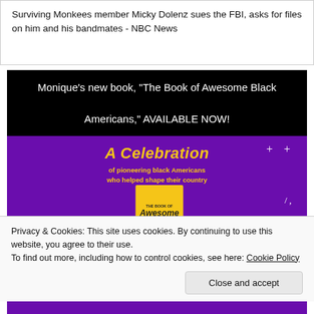Surviving Monkees member Micky Dolenz sues the FBI, asks for files on him and his bandmates - NBC News
[Figure (illustration): Book promotion banner for Monique's new book 'The Book of Awesome Black Americans'. Top section is black background with white text reading: Monique’s new book, “The Book of Awesome Black Americans,” AVAILABLE NOW! Bottom section is purple background with yellow cursive text 'A Celebration' and subtitle 'of pioneering black Americans who helped shape their country', with a yellow book cover visible at the bottom center.]
Privacy & Cookies: This site uses cookies. By continuing to use this website, you agree to their use.
To find out more, including how to control cookies, see here: Cookie Policy
Close and accept